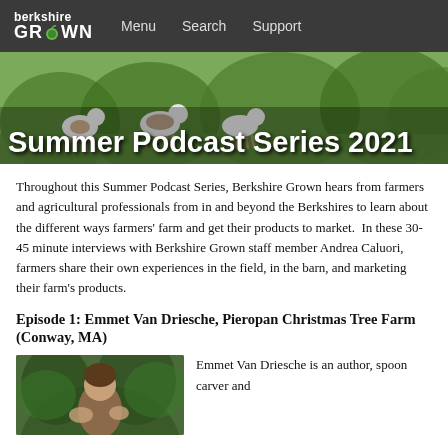berkshire GROWN — Menu | Search | Support
[Figure (photo): Hero banner photo of goats in a green field with trees in background, overlaid with title text 'Summer Podcast Series 2021']
Summer Podcast Series 2021
Throughout this Summer Podcast Series, Berkshire Grown hears from farmers and agricultural professionals from in and beyond the Berkshires to learn about the different ways farmers' farm and get their products to market.  In these 30-45 minute interviews with Berkshire Grown staff member Andrea Caluori, farmers share their own experiences in the field, in the barn, and marketing their farm's products.
Episode 1: Emmet Van Driesche, Pieropan Christmas Tree Farm (Conway, MA)
[Figure (photo): Close-up photo of a person's hands and face outdoors among green foliage]
Emmet Van Driesche is an author, spoon carver and